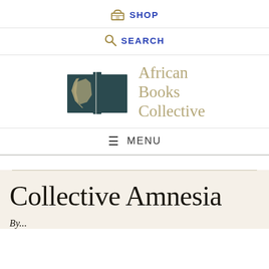SHOP
SEARCH
[Figure (logo): African Books Collective logo: stylized open book with Africa continent silhouette in dark teal and tan/khaki colors, next to text 'African Books Collective']
MENU
Collective Amnesia
By...